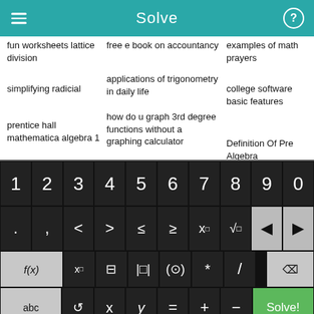Solve
fun worksheets lattice division
free e book on accountancy
examples of math prayers
simplifying radicial
applications of trigonometry in daily life
college software basic features
prentice hall mathematica algebra 1
how do u graph 3rd degree functions without a graphing calculator
Definition Of Pre Algebra
[Figure (screenshot): Math equation solver keyboard with digits 0-9, operators, function keys, abc, x, y, =, +, -, and Solve! button]